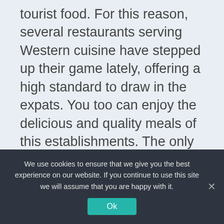tourist food. For this reason, several restaurants serving Western cuisine have stepped up their game lately, offering a high standard to draw in the expats. You too can enjoy the delicious and quality meals of this establishments. The only trick is knowing where to find them.
Likewise, Cambodians from all over the country flock to Siem Reap hoping to improve their disposition by seeking employment in the tourism branch. Their arrival has instigated a wide array of rural Khmer eateries with a variety
We use cookies to ensure that we give you the best experience on our website. If you continue to use this site we will assume that you are happy with it.
Ok